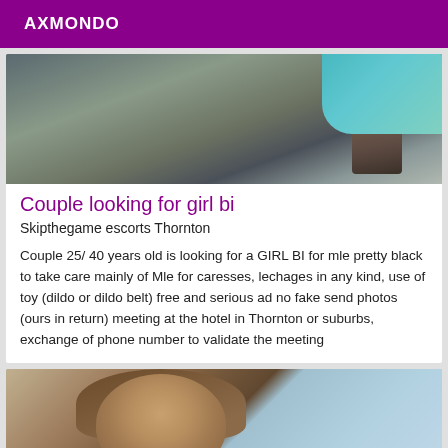AXMONDO
[Figure (photo): Photo of a room interior, partially visible person in teal clothing, with furniture and objects on a table]
Couple looking for girl bi
Skipthegame escorts Thornton
Couple 25/ 40 years old is looking for a GIRL BI for mle pretty black to take care mainly of Mle for caresses, lechages in any kind, use of toy (dildo or dildo belt) free and serious ad no fake send photos (ours in return) meeting at the hotel in Thornton or suburbs, exchange of phone number to validate the meeting
[Figure (photo): Photo of a woman with long brown hair, and a blurred medical or clinical background]